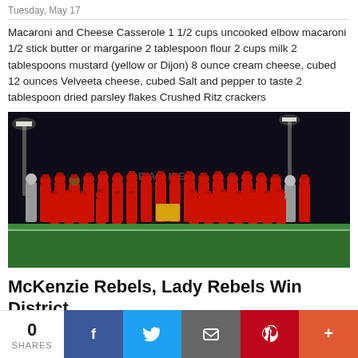Tuesday, May 17
Macaroni and Cheese Casserole 1 1/2 cups uncooked elbow macaroni 1/2 stick butter or margarine 2 tablespoon flour 2 cups milk 2 tablespoons mustard (yellow or Dijon) 8 ounce cream cheese, cubed 12 ounces Velveeta cheese, cubed Salt and pepper to taste 2 tablespoon dried parsley flakes Crushed Ritz crackers
[Figure (photo): Baseball team photo at night on a field. A large group of players in red uniforms posing in two rows with coaches, holding a championship plaque. A 'BANNER' sign visible in background.]
McKenzie Rebels, Lady Rebels Win District